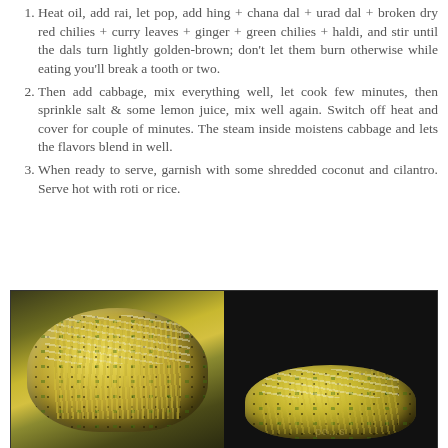Heat oil, add rai, let pop, add hing + chana dal + urad dal + broken dry red chilies + curry leaves + ginger + green chilies + haldi, and stir until the dals turn lightly golden-brown; don't let them burn otherwise while eating you'll break a tooth or two.
Then add cabbage, mix everything well, let cook few minutes, then sprinkle salt & some lemon juice, mix well again.  Switch off heat and cover for couple of minutes.  The steam inside moistens cabbage and lets the flavors blend in well.
When ready to serve, garnish with some shredded coconut and cilantro.  Serve hot with roti or rice.
[Figure (photo): Two side-by-side photos of Indian cabbage stir-fry (poriyal/sabzi) garnished with shredded coconut and mustard seeds, served in white bowls, on a dark background.]